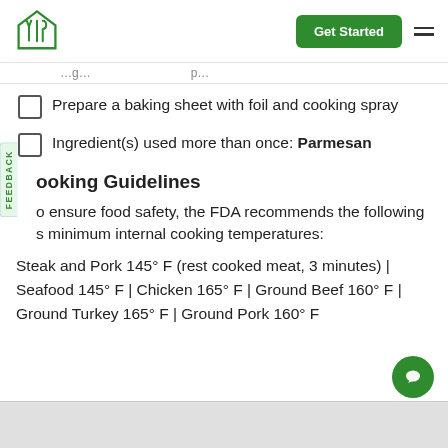Logo | Get Started | Menu
Prepare a baking sheet with foil and cooking spray
Ingredient(s) used more than once: Parmesan
Cooking Guidelines
To ensure food safety, the FDA recommends the following minimum internal cooking temperatures:
Steak and Pork 145° F (rest cooked meat, 3 minutes) | Seafood 145° F | Chicken 165° F | Ground Beef 160° F | Ground Turkey 165° F | Ground Pork 160° F